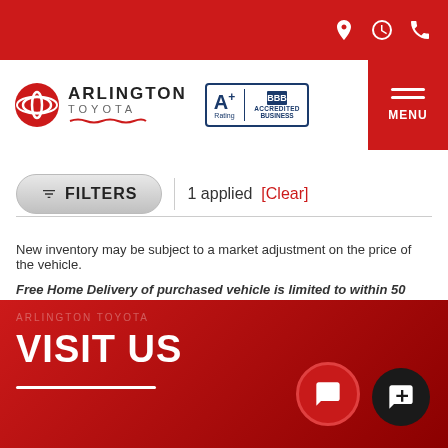Arlington Toyota - navigation header with icons for location, hours, phone, and menu
[Figure (logo): Arlington Toyota logo with Toyota emblem and BBB A+ Accredited Business badge]
FILTERS | 1 applied [Clear]
New inventory may be subject to a market adjustment on the price of the vehicle.
Free Home Delivery of purchased vehicle is limited to within 50 miles of store.
VISIT US